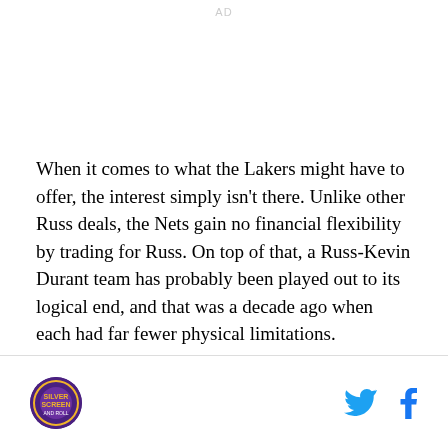AD
When it comes to what the Lakers might have to offer, the interest simply isn't there. Unlike other Russ deals, the Nets gain no financial flexibility by trading for Russ. On top of that, a Russ-Kevin Durant team has probably been played out to its logical end, and that was a decade ago when each had far fewer physical limitations.
[Silver Screen and Roll logo] [Twitter icon] [Facebook icon]